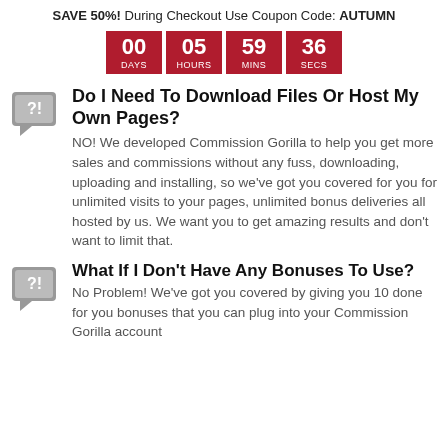SAVE 50%! During Checkout Use Coupon Code: AUTUMN
[Figure (infographic): Countdown timer showing 00 DAYS, 05 HOURS, 59 MINS, 36 SECS in red boxes]
Do I Need To Download Files Or Host My Own Pages?
NO! We developed Commission Gorilla to help you get more sales and commissions without any fuss, downloading, uploading and installing, so we've got you covered for you for unlimited visits to your pages, unlimited bonus deliveries all hosted by us. We want you to get amazing results and don't want to limit that.
What If I Don't Have Any Bonuses To Use?
No Problem! We've got you covered by giving you 10 done for you bonuses that you can plug into your Commission Gorilla account